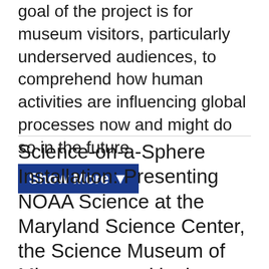goal of the project is for museum visitors, particularly underserved audiences, to comprehend how human activities are influencing global processes now and might do so in the future.
Show More ▼
Science-on-a-Sphere Installation: Presenting NOAA Science at the Maryland Science Center, the Science Museum of Minnesota, and in the National Traveling Exhibition